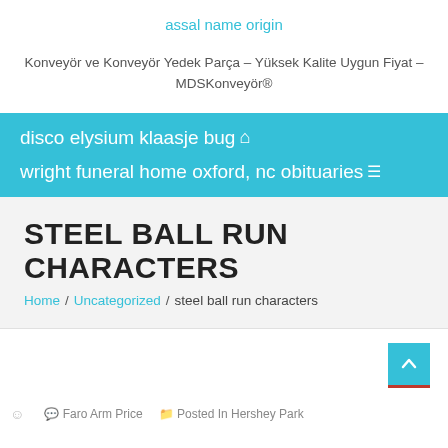assal name origin
Konveyör ve Konveyör Yedek Parça – Yüksek Kalite Uygun Fiyat – MDSKonveyör®
disco elysium klaasje bug
wright funeral home oxford, nc obituaries
STEEL BALL RUN CHARACTERS
Home / Uncategorized / steel ball run characters
Faro Arm Price   Posted In Hershey Park